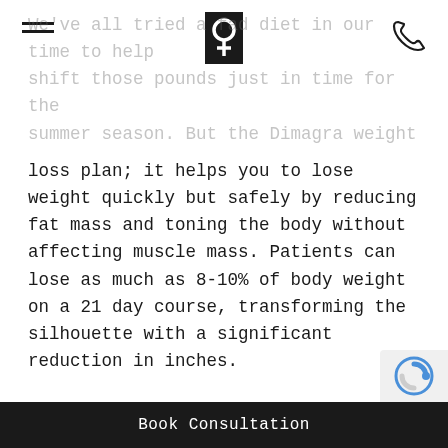We've all tried a fad diet in our time to help shift those pounds just in time for the summer season. But the Dimagra weight loss plan; it helps you to lose weight quickly but safely by reducing fat mass and toning the body without affecting muscle mass. Patients can lose as much as 8-10% of body weight on a 21 day course, transforming the silhouette with a significant reduction in inches.
The first step lasts 21 days and consists of an intake of a specific amount of proteins, almost total elimination of carbohydrates, and reduced lipids (fat). There is also a
Book Consultation